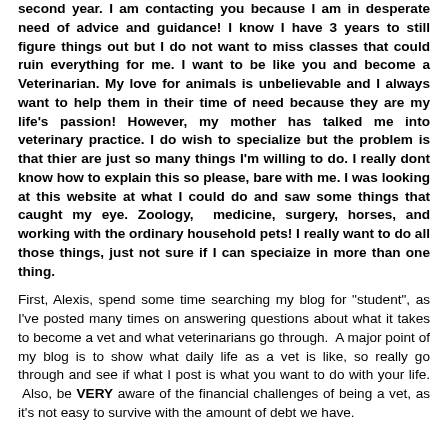second year. I am contacting you because I am in desperate need of advice and guidance! I know I have 3 years to still figure things out but I do not want to miss classes that could ruin everything for me. I want to be like you and become a Veterinarian. My love for animals is unbelievable and I always want to help them in their time of need because they are my life's passion! However, my mother has talked me into veterinary practice. I do wish to specialize but the problem is that thier are just so many things I'm willing to do. I really dont know how to explain this so please, bare with me. I was looking at this website at what I could do and saw some things that caught my eye. Zoology, medicine, surgery, horses, and working with the ordinary household pets! I really want to do all those things, just not sure if I can speciaize in more than one thing.
First, Alexis, spend some time searching my blog for "student", as I've posted many times on answering questions about what it takes to become a vet and what veterinarians go through. A major point of my blog is to show what daily life as a vet is like, so really go through and see if what I post is what you want to do with your life. Also, be VERY aware of the financial challenges of being a vet, as it's not easy to survive with the amount of debt we have.